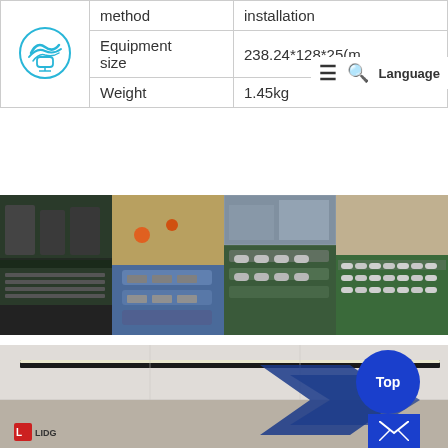|  | method / Equipment size / Weight | installation / 238.24*128*25(m) / 1.45kg |
| --- | --- | --- |
| [logo] | method | installation |
|  | Equipment size | 238.24*128*25(m |
|  | Weight | 1.45kg |
[Figure (photo): Four factory/warehouse photos showing lighting equipment staged in rows on blue-covered tables]
[Figure (photo): Interior rendering of a ceiling with linear LED lights installed, with logo and blue arrow graphic overlay, and Top/mail buttons visible]